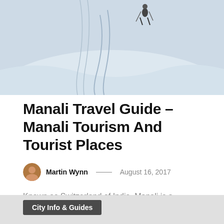[Figure (photo): Hero image showing a skier on a snowy slope, viewed from above, with ski tracks visible in the snow]
Manali Travel Guide – Manali Tourism And Tourist Places
Martin Wynn  —  August 16, 2017
Known as Switzerland of India, Manali is a beloved tourist's destination of the country. The spectacular and magnificent hill station of north India, Manali is a must see place. It…
View Post
City Info & Guides